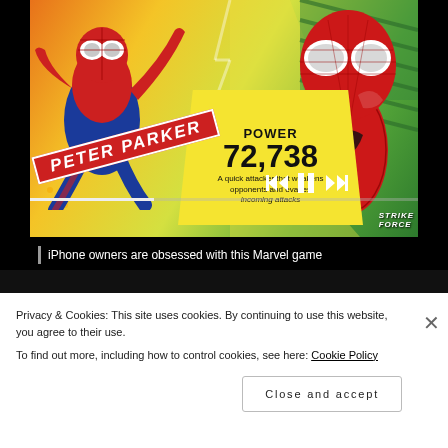[Figure (screenshot): Marvel Strike Force mobile game advertisement showing two Spider-Man characters (animated style on left, realistic on right) with a yellow power panel displaying 'POWER 72,738' and text 'A quick attacker that weakens opponents and evades incoming attacks', Peter Parker name banner, Strike Force logo, and video playback controls]
iPhone owners are obsessed with this Marvel game
[Figure (photo): Partial view of a second video/image below the ad, showing a woman and room interior]
Privacy & Cookies: This site uses cookies. By continuing to use this website, you agree to their use.
To find out more, including how to control cookies, see here: Cookie Policy
Close and accept